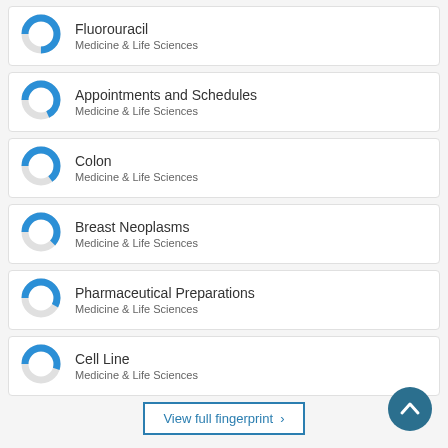Fluorouracil
Medicine & Life Sciences
Appointments and Schedules
Medicine & Life Sciences
Colon
Medicine & Life Sciences
Breast Neoplasms
Medicine & Life Sciences
Pharmaceutical Preparations
Medicine & Life Sciences
Cell Line
Medicine & Life Sciences
View full fingerprint >